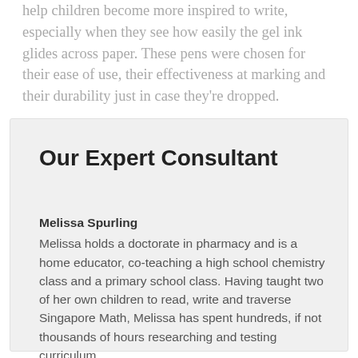help children become more inspired to write, especially when they see how easily the gel ink glides across paper. These pens were chosen for their ease of use, their effectiveness at marking and their durability just in case they're dropped.
Our Expert Consultant
Melissa Spurling
Melissa holds a doctorate in pharmacy and is a home educator, co-teaching a high school chemistry class and a primary school class. Having taught two of her own children to read, write and traverse Singapore Math, Melissa has spent hundreds, if not thousands of hours researching and testing curriculum.